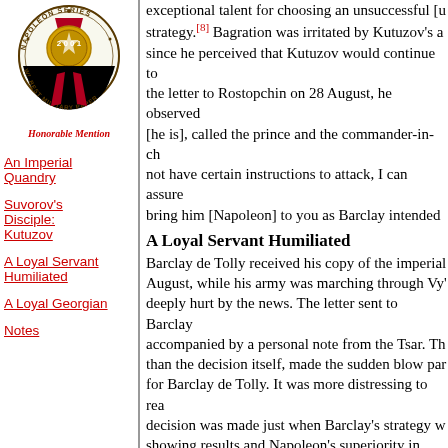[Figure (logo): Napoleon Series Writing Contest Winner Best Military Paper badge with red ribbon/medal and text '2001', surrounded by circular text 'NAPOLEON SERIES WRITING CONTEST WINNER BEST MILITARY PAPER']
Honorable Mention
An Imperial Quandry
Suvorov's Disciple: Kutuzov
A Loyal Servant Humiliated
A Loyal Georgian
Notes
exceptional talent for choosing an unsuccessful [u... strategy.[8] Bagration was irritated by Kutuzov's a... since he perceived that Kutuzov would continue to... the letter to Rostopchin on 28 August, he observed... [he is], called the prince and the commander-in-ch... not have certain instructions to attack, I can assure... bring him [Napoleon] to you as Barclay intended n... another letter to Rostopchin, Bagration complained... to serve [my country], my heart is torn, but hands... before.[11]
A Loyal Servant Humiliated
Barclay de Tolly received his copy of the imperial... August, while his army was marching through Vy'... deeply hurt by the news. The letter sent to Barclay... accompanied by a personal note from the Tsar. Th... than the decision itself, made the sudden blow par... for Barclay de Tolly. It was more distressing to rea... decision was made just when Barclay's strategy w... showing results and Napoleon's superiority in num... almost eliminated. No one could more faithfully h... Alexander's parting warning at Polotsk: "remembe... only army and that I have no other.[12] Yet, now at... Barclay was disgraced and humiliated. Barclay w...